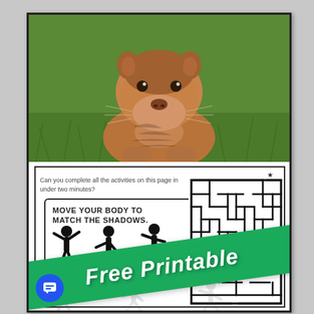[Figure (photo): A groundhog emerging from a burrow in green grass, looking upward. Brown fur, close-up portrait shot.]
Can you complete all the activities on this page in under two minutes?
MOVE YOUR BODY TO MATCH THE SHADOWS.
[Figure (illustration): Black silhouettes of children in various body poses (shadow matching activity)]
[Figure (other): A maze puzzle with a star at the top entry point]
Free Printable